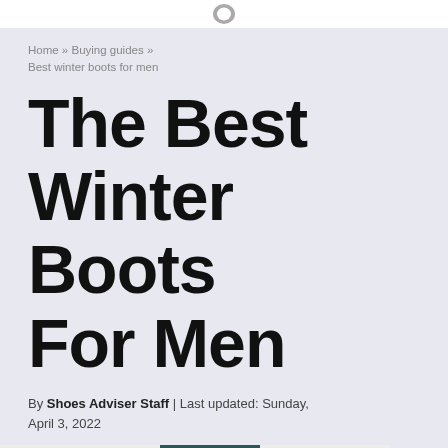Home » Buying guides » Best winter boots for men
The Best Winter Boots For Men
By Shoes Adviser Staff | Last updated: Sunday, April 3, 2022
[Figure (photo): Article hero image showing a person wearing winter boots with an SA badge overlay in the bottom right corner]